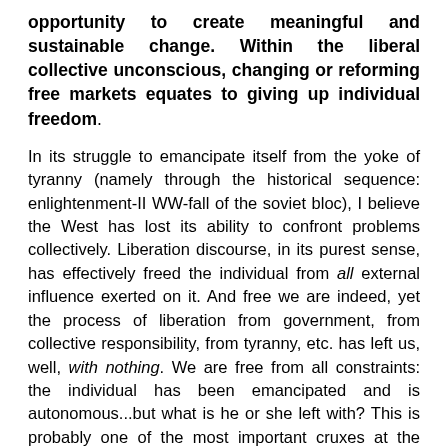opportunity to create meaningful and sustainable change. Within the liberal collective unconscious, changing or reforming free markets equates to giving up individual freedom.
In its struggle to emancipate itself from the yoke of tyranny (namely through the historical sequence: enlightenment-II WW-fall of the soviet bloc), I believe the West has lost its ability to confront problems collectively. Liberation discourse, in its purest sense, has effectively freed the individual from all external influence exerted on it. And free we are indeed, yet the process of liberation from government, from collective responsibility, from tyranny, etc. has left us, well, with nothing. We are free from all constraints: the individual has been emancipated and is autonomous...but what is he or she left with? This is probably one of the most important cruxes at the heart of